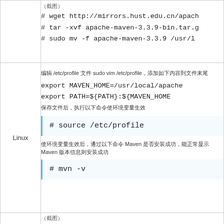（截图）
# wget http://mirrors.hust.edu.cn/apach
# tar -xvf apache-maven-3.3.9-bin.tar.g
# sudo mv -f apache-maven-3.3.9 /usr/l
编辑 /etc/profile 文件 sudo vim /etc/profile，添加如下内容到文件末尾
export MAVEN_HOME=/usr/local/apache
export PATH=${PATH}:${MAVEN_HOME
保存文件后，执行以下命令使环境变量生效
# source /etc/profile
使环境变量生效后，通过以下命令 Maven 是否安装成功，能正常显示 Maven 版本信息则安装成功
# mvn -v
（截图）